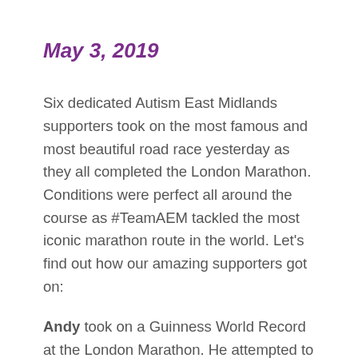May 3, 2019
Six dedicated Autism East Midlands supporters took on the most famous and most beautiful road race yesterday as they all completed the London Marathon. Conditions were perfect all around the course as #TeamAEM tackled the most iconic marathon route in the world. Let’s find out how our amazing supporters got on:
Andy took on a Guinness World Record at the London Marathon. He attempted to beat the world record for running the marathon in full